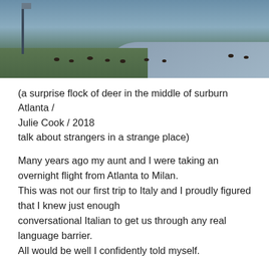[Figure (photo): Outdoor photo showing a suburban Atlanta scene with a grassy area and road, with several dark deer visible in the background against a blue-grey sky.]
(a surprise flock of deer in the middle of surburn Atlanta / Julie Cook / 2018
talk about strangers in a strange place)
Many years ago my aunt and I were taking an overnight flight from Atlanta to Milan.
This was not our first trip to Italy and I proudly figured that I knew just enough
conversational Italian to get us through any real language barrier.
All would be well I confidently told myself.
Yet in the back of my mind, I knew my aunt.
A panicker if ever there was one.